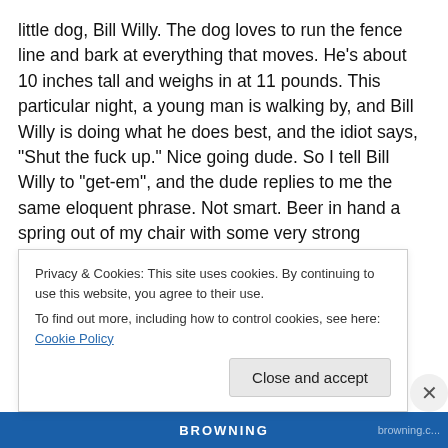little dog, Bill Willy. The dog loves to run the fence line and bark at everything that moves. He’s about 10 inches tall and weighs in at 11 pounds. This particular night, a young man is walking by, and Bill Willy is doing what he does best, and the idiot says, “Shut the fuck up.” Nice going dude. So I tell Bill Willy to “get-em”, and the dude replies to me the same eloquent phrase. Not smart. Beer in hand a spring out of my chair with some very strong language. Dude goes into to monkey fight mode….throwing hands in the air saying “come on cracker”. Really? So I say no problem, just quit backing up. Never seen somebody
Privacy & Cookies: This site uses cookies. By continuing to use this website, you agree to their use.
To find out more, including how to control cookies, see here: Cookie Policy
Close and accept